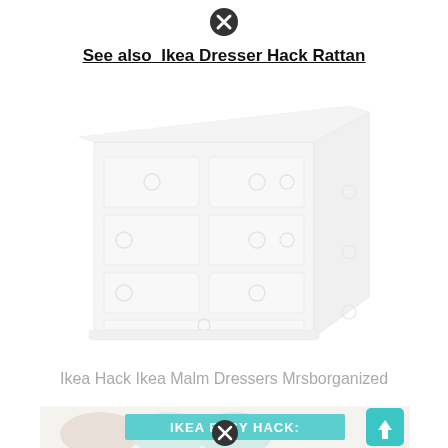[Figure (other): Black circle close/dismiss button at top center]
See also  Ikea Dresser Hack Rattan
[Figure (photo): Blurred/faded white IKEA Malm dresser with round drawer pulls, multiple drawers, shown in perspective view]
Ikea Hack Ikea Malm Dressers Mrsborganized
[Figure (photo): Bottom image showing a bed scene with teal banner text reading IKEA EASY HACK: and partially visible cursive text below, with a teal scroll-up arrow button at bottom right]